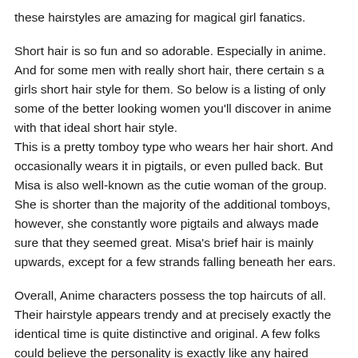these hairstyles are amazing for magical girl fanatics.
Short hair is so fun and so adorable. Especially in anime. And for some men with really short hair, there certain s a girls short hair style for them. So below is a listing of only some of the better looking women you'll discover in anime with that ideal short hair style.
This is a pretty tomboy type who wears her hair short. And occasionally wears it in pigtails, or even pulled back. But Misa is also well-known as the cutie woman of the group. She is shorter than the majority of the additional tomboys, however, she constantly wore pigtails and always made sure that they seemed great. Misa's brief hair is mainly upwards, except for a few strands falling beneath her ears.
Overall, Anime characters possess the top haircuts of all. Their hairstyle appears trendy and at precisely exactly the identical time is quite distinctive and original. A few folks could believe the personality is exactly like any haired anime